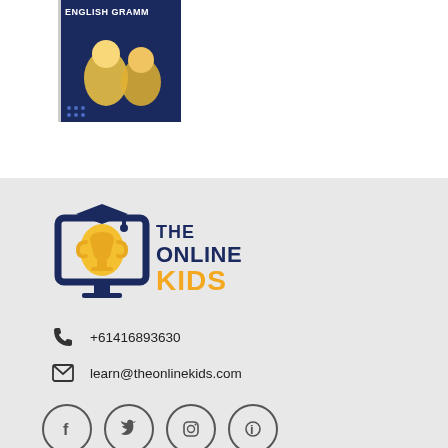[Figure (photo): Thumbnail image of English Grammar course with two children on a dark blue background with text ENGLISH GRAMMAR at top]
[Figure (logo): The Online Kids logo — dark navy monitor icon with yellow trophy/character, text THE ONLINE KIDS in navy and orange/yellow]
+61416893630
learn@theonlinekids.com
[Figure (other): Row of four social media icon circles: Facebook, Twitter/bird, Instagram camera, and one more (Pinterest or similar)]